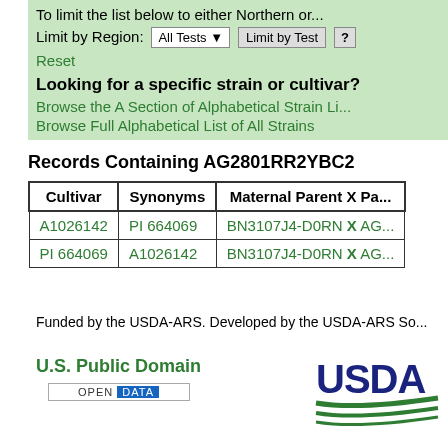To limit the list below to either Northern or...
Limit by Region: All Tests ▾  Limit by Test  ?
Reset
Looking for a specific strain or cultivar?
Browse the A Section of Alphabetical Strain Li...
Browse Full Alphabetical List of All Strains
Records Containing AG2801RR2YBC2
| Cultivar | Synonyms | Maternal Parent X Pa... |
| --- | --- | --- |
| A1026142 | PI 664069 | BN3107J4-D0RN X AG... |
| PI 664069 | A1026142 | BN3107J4-D0RN X AG... |
Funded by the USDA-ARS. Developed by the USDA-ARS So...
U.S. Public Domain
OPEN DATA
[Figure (logo): USDA logo with text USDA and green stripe lines]